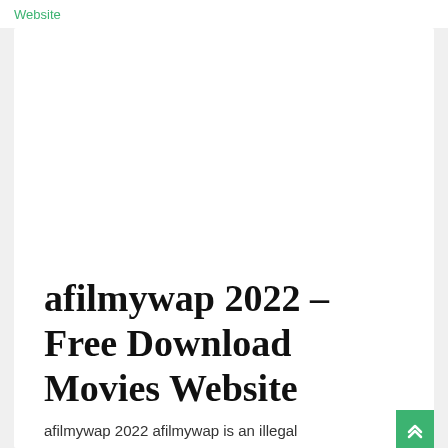Website
afilmywap 2022 – Free Download Movies Website
afilmywap 2022 afilmywap is an illegal